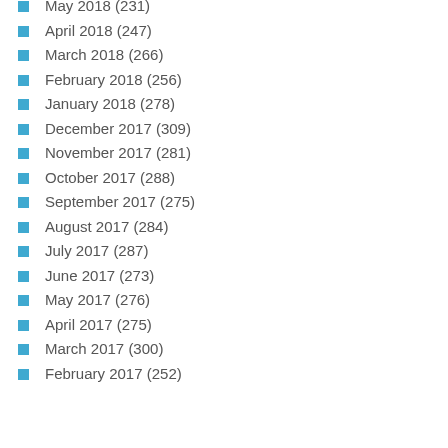May 2018 (231)
April 2018 (247)
March 2018 (266)
February 2018 (256)
January 2018 (278)
December 2017 (309)
November 2017 (281)
October 2017 (288)
September 2017 (275)
August 2017 (284)
July 2017 (287)
June 2017 (273)
May 2017 (276)
April 2017 (275)
March 2017 (300)
February 2017 (252)